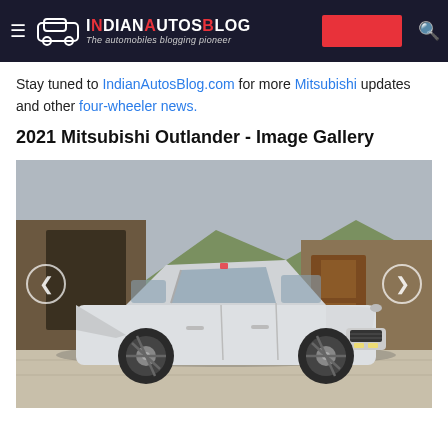IndianAutosBlog - The automobiles blogging pioneer
Stay tuned to IndianAutosBlog.com for more Mitsubishi updates and other four-wheeler news.
2021 Mitsubishi Outlander - Image Gallery
[Figure (photo): 2021 Mitsubishi Outlander SUV shown in white/silver color from front-three-quarter angle, parked in front of a stone/wood building with mountains in background. Gallery slider with left and right navigation arrows.]